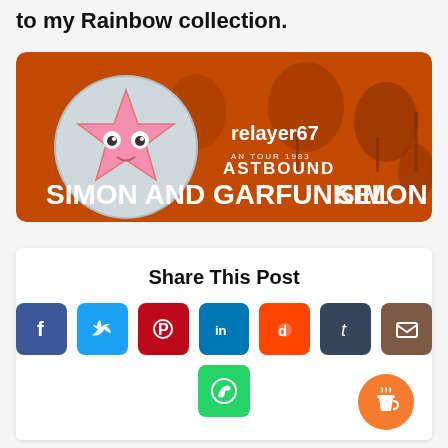to my Rainbow collection.
[Figure (screenshot): Banner image showing Simon and Garfunkel album/tour artwork with orange tinted concert photo and user avatar (star character). Text reads: relayer67, AN TOUR 1983, ASTBOUND, SIMON AND GARFUNKEL, SIMON A]
Share This Post
[Figure (infographic): Social media share buttons: Facebook (blue), Twitter (blue), Pinterest (dark red), LinkedIn (teal/blue), Reddit (orange), Tumblr (dark blue), Email (brown), WhatsApp (green). Plus a Buy Me a Coffee orange circular button.]